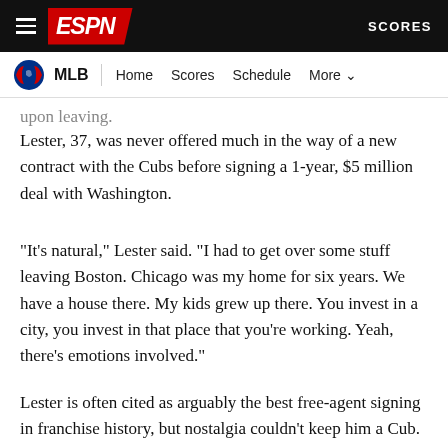ESPN — MLB | Home Scores Schedule More
upon leaving.
Lester, 37, was never offered much in the way of a new contract with the Cubs before signing a 1-year, $5 million deal with Washington.
"It's natural," Lester said. "I had to get over some stuff leaving Boston. Chicago was my home for six years. We have a house there. My kids grew up there. You invest in a city, you invest in that place that you're working. Yeah, there's emotions involved."
Lester is often cited as arguably the best free-agent signing in franchise history, but nostalgia couldn't keep him a Cub. After the team declined a $25 million team option for 2021, the 16-